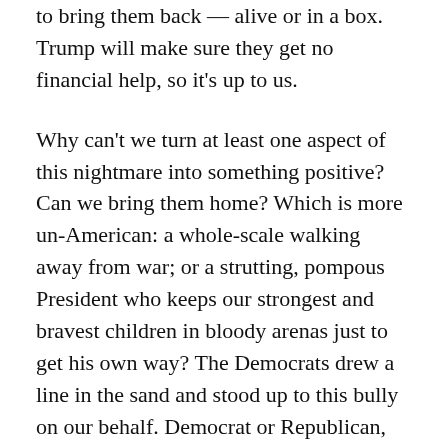to bring them back — alive or in a box. Trump will make sure they get no financial help, so it's up to us.
Why can't we turn at least one aspect of this nightmare into something positive? Can we bring them home? Which is more un-American: a whole-scale walking away from war; or a strutting, pompous President who keeps our strongest and bravest children in bloody arenas just to get his own way? The Democrats drew a line in the sand and stood up to this bully on our behalf. Democrat or Republican, let's use this time to Bring Our Children Home.
“You may say I’m a dreamer,” as the song